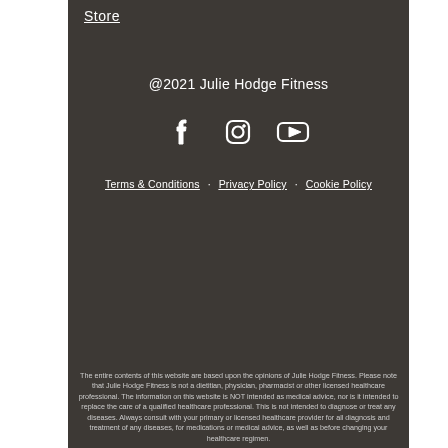Store
@2021 Julie Hodge Fitness
[Figure (illustration): Social media icons: Facebook, Instagram, YouTube — white outlines on dark background]
Terms & Conditions   Privacy Policy   Cookie Policy
The entire contents of this website are based upon the opinions of Julie Hodge Fitness. Please note that Julie Hodge Fitness is not a dietitian, physician, pharmacist or other licensed healthcare professional. The information on this website is NOT intended as medical advice, nor is it intended to replace the care of a qualified healthcare professional. This is not intended to diagnose or treat any diseases. Always consult with your primary or licensed healthcare provider for all diagnosis and treatment of any diseases, for medications or medical advice, as well as before changing your healthcare regimen.